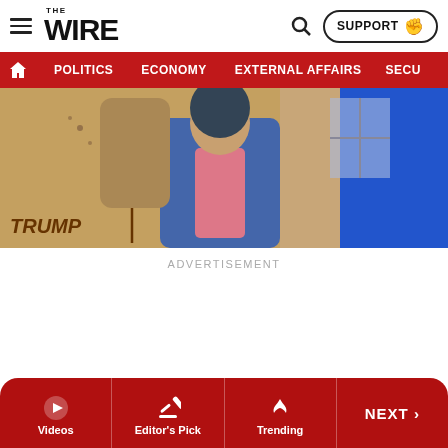THE WIRE — navigation header with search and SUPPORT button
POLITICS | ECONOMY | EXTERNAL AFFAIRS | SECU...
[Figure (photo): Partial photo showing a woman with beaded necklace wearing denim jacket; text 'TRUMP' written on wall in background; blue-shirted person to the right]
ADVERTISEMENT
Videos | Editor's Pick | Trending | NEXT >